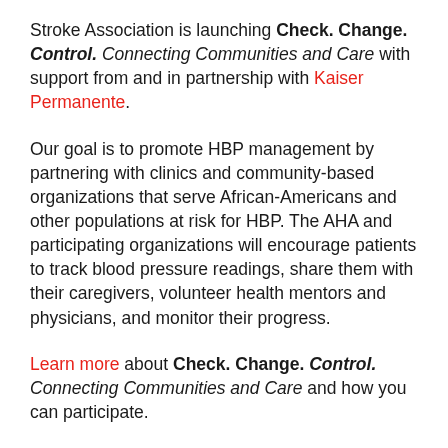Stroke Association is launching Check. Change. Control. Connecting Communities and Care with support from and in partnership with Kaiser Permanente.
Our goal is to promote HBP management by partnering with clinics and community-based organizations that serve African-Americans and other populations at risk for HBP. The AHA and participating organizations will encourage patients to track blood pressure readings, share them with their caregivers, volunteer health mentors and physicians, and monitor their progress.
Learn more about Check. Change. Control. Connecting Communities and Care and how you can participate.
[Figure (other): Partial orange circle/button at bottom center of page]